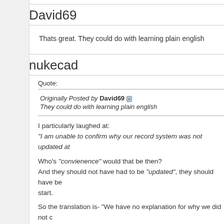David69
Thats great. They could do with learning plain english
nukecad
Quote:
Originally Posted by David69
They could do with learning plain english
I particularly laughed at:
"I am unable to confirm why our record system was not updated at

Who’s “convienence” would that be then?
And they should not have had to be "updated", they should have be start.

So the translation is- "We have no explanation for why we did not c place".
Of course that would be admitting in plain language they make mis that.